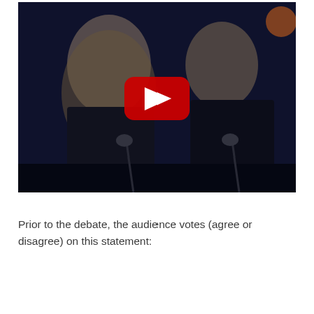[Figure (screenshot): A YouTube video thumbnail showing two people at microphones on a stage with blue lighting in the background. A woman with long blonde hair in a dark top stands at a microphone on the left, and a man in a dark jacket stands at a microphone on the right. A red YouTube play button overlay is displayed in the center of the image.]
Prior to the debate, the audience votes (agree or disagree) on this statement: